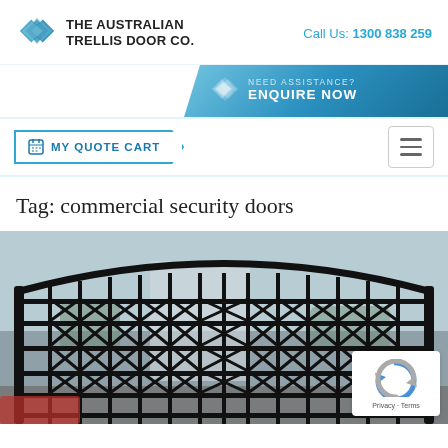[Figure (logo): The Australian Trellis Door Co. logo with blue diamond-shaped icon]
Call Us: 1300 838 259
[Figure (infographic): Enquire Now button with blue gradient background and diamond icon]
MY QUOTE CART
Tag: commercial security doors
[Figure (photo): Commercial security trellis/accordion gate at a building entrance, black metal lattice gate with diamond pattern, glass building behind]